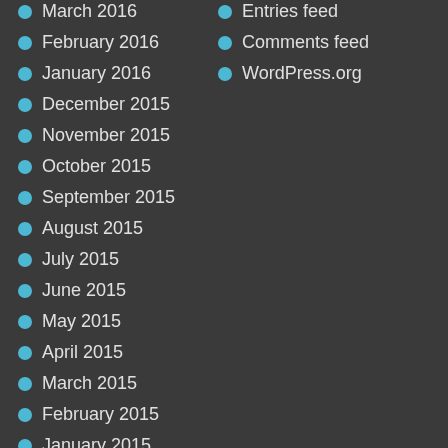March 2016
Entries feed
February 2016
Comments feed
January 2016
WordPress.org
December 2015
November 2015
October 2015
September 2015
August 2015
July 2015
June 2015
May 2015
April 2015
March 2015
February 2015
January 2015